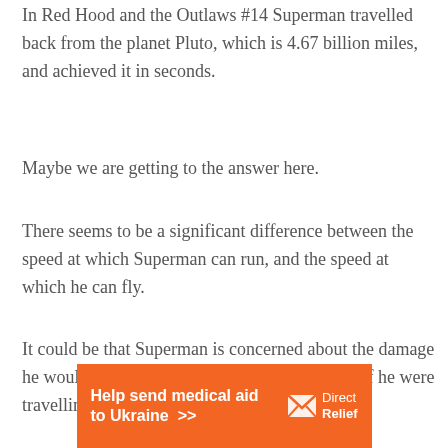In Red Hood and the Outlaws #14 Superman travelled back from the planet Pluto, which is 4.67 billion miles, and achieved it in seconds.
Maybe we are getting to the answer here.
There seems to be a significant difference between the speed at which Superman can run, and the speed at which he can fly.
It could be that Superman is concerned about the damage he would do to the planet with repeated strides if he were travelling that fast.
[Figure (infographic): Orange advertisement banner for Direct Relief: 'Help send medical aid to Ukraine >>' with Direct Relief logo (white envelope icon and text)]